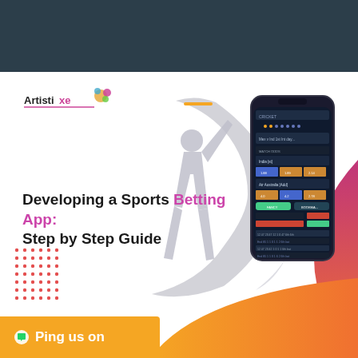[Figure (illustration): Dark teal header banner at top of page]
[Figure (logo): Artistixe logo with colorful splash graphic and underline]
[Figure (illustration): Cricket batsman silhouette in grey with large crescent moon shape in background]
[Figure (screenshot): Mobile phone mockup showing a sports betting app interface with dark blue UI, match listings, and betting odds grids]
Developing a Sports Betting App: Step by Step Guide
[Figure (illustration): Decorative pink/magenta curved shape on the right edge]
[Figure (illustration): Decorative orange wave shape at bottom right]
[Figure (illustration): Red/orange dot grid pattern at bottom left]
Ping us on